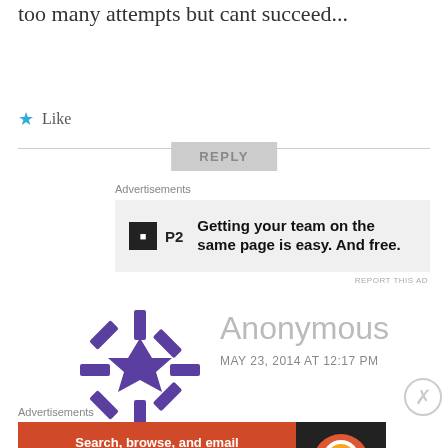too many attempts but cant succeed...
★ Like
REPLY
Advertisements
[Figure (other): P2 advertisement banner: logo with black square P2 text, and copy reading 'Getting your team on the same page is easy. And free.']
REPORT THIS AD
[Figure (illustration): Purple geometric snowflake/quilt star avatar for Anonymous commenter]
Anonymous
MAY 23, 2014 AT 12:17 PM
Advertisements
[Figure (other): DuckDuckGo advertisement: orange background with text 'Search, browse, and email with more privacy. All in One Free App' and DuckDuckGo logo on dark background]